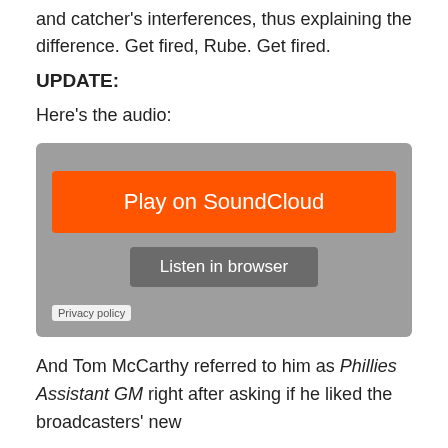and catcher's interferences, thus explaining the difference. Get fired, Rube. Get fired.
UPDATE:
Here's the audio:
[Figure (other): SoundCloud embedded audio player with orange 'Play on SoundCloud' button and grey 'Listen in browser' button, with Privacy policy link]
And Tom McCarthy referred to him as Phillies Assistant GM right after asking if he liked the broadcasters' new